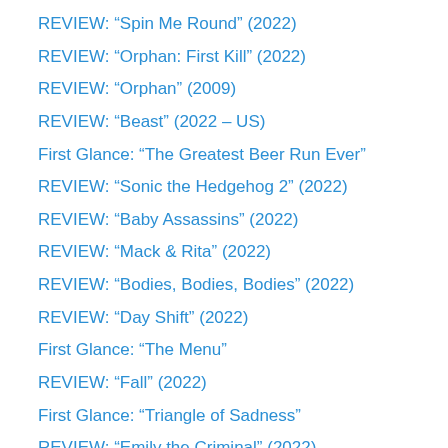REVIEW: “Spin Me Round” (2022)
REVIEW: “Orphan: First Kill” (2022)
REVIEW: “Orphan” (2009)
REVIEW: “Beast” (2022 – US)
First Glance: “The Greatest Beer Run Ever”
REVIEW: “Sonic the Hedgehog 2” (2022)
REVIEW: “Baby Assassins” (2022)
REVIEW: “Mack & Rita” (2022)
REVIEW: “Bodies, Bodies, Bodies” (2022)
REVIEW: “Day Shift” (2022)
First Glance: “The Menu”
REVIEW: “Fall” (2022)
First Glance: “Triangle of Sadness”
REVIEW: “Emily the Criminal” (2022)
REVIEW: “Rogue Agent” (2022)
REVIEW: “Thirteen Lives” (2022)
First Glance: “The Banshees of Inisherin”
REVIEW: “Bullet Train” (2022)
REVIEW: “Not Okay” (2022)
REVIEW: “Prey” (2022)